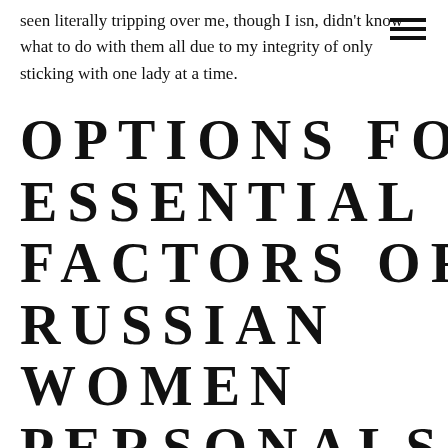[Figure (other): Hamburger menu icon (three horizontal lines) in top right corner]
seen literally tripping over me, though I isn't didn't know what to do with them all due to my integrity of only sticking with one lady at a time.
OPTIONS FOR ESSENTIAL FACTORS OF RUSSIAN WOMEN PERSONALS REVIEWS